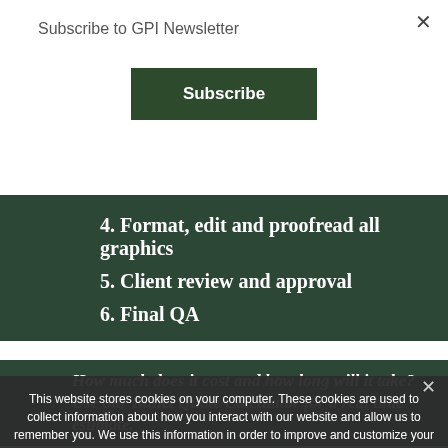Subscribe to GPI Newsletter
×
Subscribe
4. Format, edit and proofread all graphics
5. Client review and approval
6. Final QA
This website stores cookies on your computer. These cookies are used to collect information about how you interact with our website and allow us to remember you. We use this information in order to improve and customize your browsing experience and for analytics and metrics about our visitors both on this website and other media. To find out more about the cookies we use, see our Privacy Policy. If you decline, your information won't be tracked when you visit this website. A single cookie will be used in your browser to remember your preference not to be tracked.
×
Accept
Decline
Privacy policy
How much does it cost and how long will it take? Use our Bullet Quote Calculator for a real time estimate.